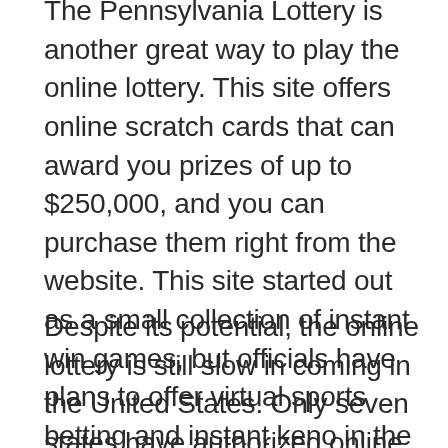The Pennsylvania Lottery is another great way to play the online lottery. This site offers online scratch cards that can award you prizes of up to $250,000, and you can purchase them right from the website. This site started out as a small collection of instant win games, but officials have plans to offer virtual sports betting and instant keno in the future. The Pennsylvania lottery also supports online pools for group games. In the future, the online lottery is expected to become more popular.
Despite its potential, the online lottery is still slow in coming in the United States. Only seven states have authorized online lottery sales. This could change, however, as more states begin to allow online lottery sales. In the meantime, fans of online